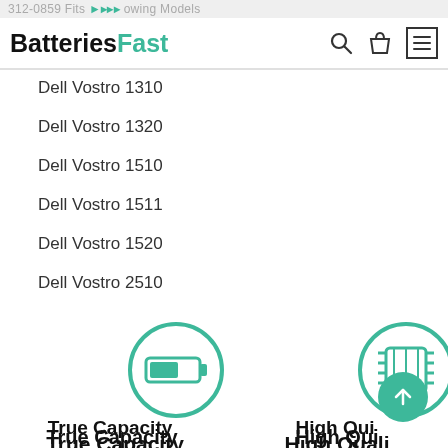312-0859 Fits Following Models
[Figure (logo): BatteriesFast logo with teal colored 'Fast' text, search icon, shopping bag icon, and hamburger menu icon]
Dell Vostro 1310
Dell Vostro 1320
Dell Vostro 1510
Dell Vostro 1511
Dell Vostro 1520
Dell Vostro 2510
[Figure (illustration): Teal circle icon with battery symbol inside]
[Figure (illustration): Teal circle icon with circuit/chip symbol inside, partially clipped on right edge]
True Capacity
High Quali
High performance batteries that deliver 100% of the specified battery capacity
Top quality materia boards ensure du performa
[Figure (illustration): Teal circular scroll-to-top button with upward arrow]